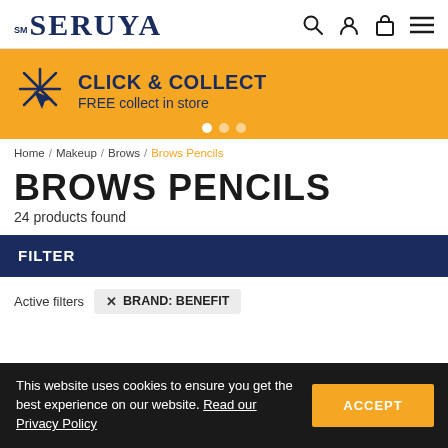SM SERUYA
[Figure (infographic): Click & Collect banner with cursor icon, text: CLICK & COLLECT FREE collect in store, with carousel dots]
Home / Makeup / Brows / Brows Pencils
BROWS PENCILS
24 products found
FILTER
Active filters   ✕ BRAND: BENEFIT
This website uses cookies to ensure you get the best experience on our website. Read our Privacy Policy